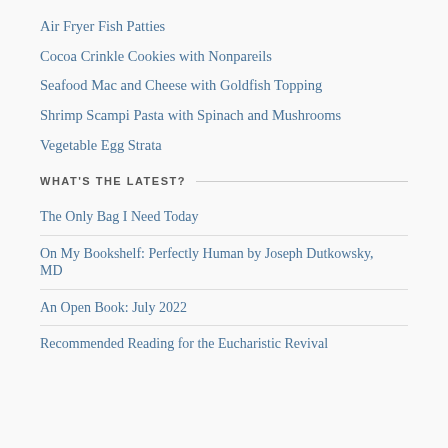Air Fryer Fish Patties
Cocoa Crinkle Cookies with Nonpareils
Seafood Mac and Cheese with Goldfish Topping
Shrimp Scampi Pasta with Spinach and Mushrooms
Vegetable Egg Strata
WHAT'S THE LATEST?
The Only Bag I Need Today
On My Bookshelf: Perfectly Human by Joseph Dutkowsky, MD
An Open Book: July 2022
Recommended Reading for the Eucharistic Revival